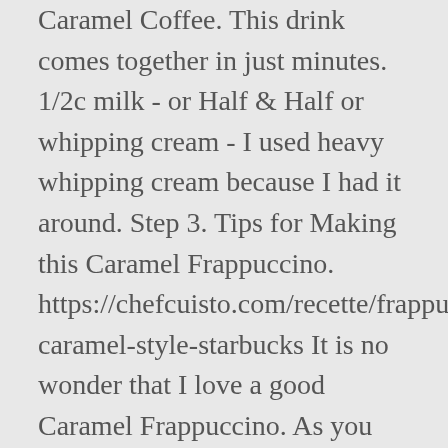Caramel Coffee. This drink comes together in just minutes. 1/2c milk - or Half & Half or whipping cream - I used heavy whipping cream because I had it around. Step 3. Tips for Making this Caramel Frappuccino. https://chefcuisto.com/recette/frappuccino-caramel-style-starbucks It is no wonder that I love a good Caramel Frappuccino. As you may have guessed from my Best Ever Blondies, I have an insatiable fondness for caramel. I' am over all super happy. And more caramel on top of course. Make and share this Caramel Frappucino recipe from Food.com. I love the money I'm saving as I let her make these as a treat before an out-n-about adventure. I'm pretty sure the taste is wonderfull and can't